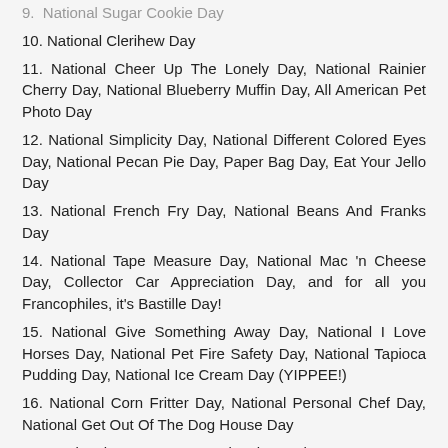9. National Sugar Cookie Day
10. National Clerihew Day
11. National Cheer Up The Lonely Day, National Rainier Cherry Day, National Blueberry Muffin Day, All American Pet Photo Day
12. National Simplicity Day, National Different Colored Eyes Day, National Pecan Pie Day, Paper Bag Day, Eat Your Jello Day
13. National French Fry Day, National Beans And Franks Day
14. National Tape Measure Day, National Mac 'n Cheese Day, Collector Car Appreciation Day, and for all you Francophiles, it's Bastille Day!
15. National Give Something Away Day, National I Love Horses Day, National Pet Fire Safety Day, National Tapioca Pudding Day, National Ice Cream Day (YIPPEE!)
16. National Corn Fritter Day, National Personal Chef Day, National Get Out Of The Dog House Day
17. National Tattoo Day, National Peach Ice Cram Day, World Emoji Day, Wrong Way Corrigan Day, National Yellow Pig Day
18. National Caviar Day, National Sour Candy Day